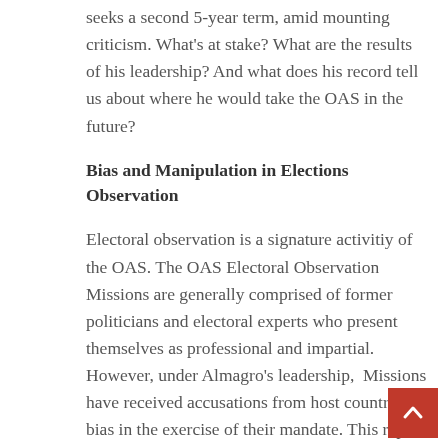seeks a second 5-year term, amid mounting criticism. What's at stake? What are the results of his leadership? And what does his record tell us about where he would take the OAS in the future?
Bias and Manipulation in Elections Observation
Electoral observation is a signature activitiy of the OAS. The OAS Electoral Observation Missions are generally comprised of former politicians and electoral experts who present themselves as professional and impartial. However, under Almagro's leadership,  Missions have received accusations from host countries of bias in the exercise of their mandate. This report